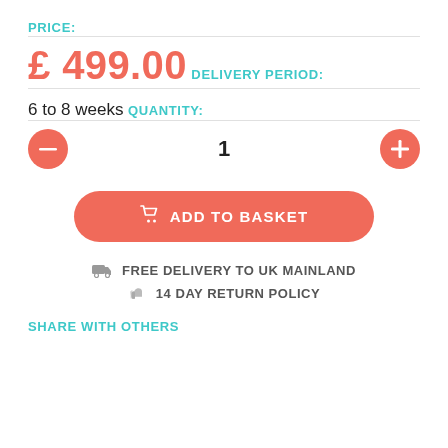PRICE:
£ 499.00
DELIVERY PERIOD:
6 to 8 weeks
QUANTITY:
[Figure (other): Quantity selector with minus button, value 1, and plus button]
[Figure (other): Add to Basket button with shopping cart icon]
FREE DELIVERY TO UK MAINLAND
14 DAY RETURN POLICY
SHARE WITH OTHERS